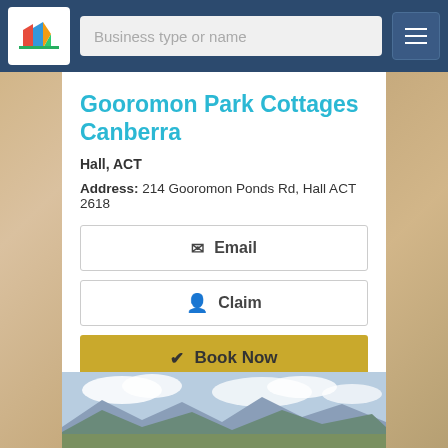[Figure (screenshot): Website navigation bar with colorful logo, search input field labeled 'Business type or name', and hamburger menu button]
Gooromon Park Cottages Canberra
Hall, ACT
Address: 214 Gooromon Ponds Rd, Hall ACT 2618
✉ Email
Claim
✓ Book Now
View Details
[Figure (photo): Landscape photo showing a scenic view of mountains, fields, and sky with clouds, viewed from an elevated position]